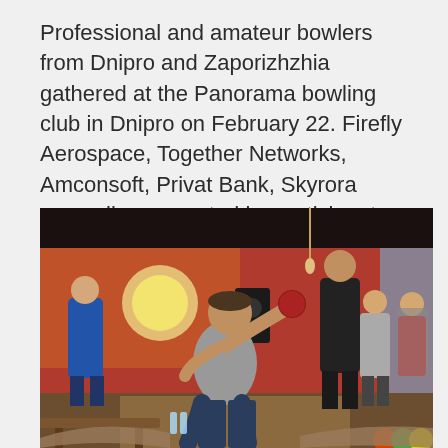Professional and amateur bowlers from Dnipro and Zaporizhzhia gathered at the Panorama bowling club in Dnipro on February 22. Firefly Aerospace, Together Networks, Amconsoft, Privat Bank, Skyrora were all represented by participants. Some players surprised us with their preparation for the competition. Some arrived with their own bowling balls while others had their own bowling gloves.
[Figure (photo): Photo of a bowling alley interior with a man in a grey t-shirt mid-throw releasing a bowling ball. Several other people are standing in the background watching. The walls are painted red and orange. The scene is lit with warm overhead lighting.]